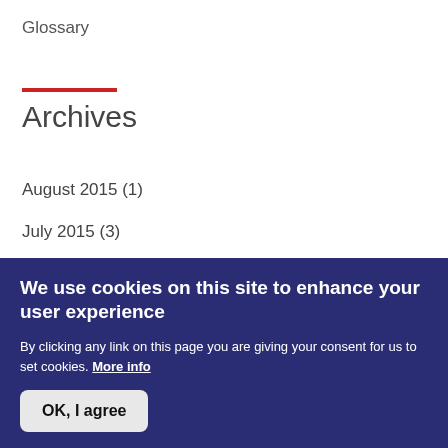Glossary
Archives
August 2015 (1)
July 2015 (3)
April 2015 (1)
February 2015 (1)
November 2014 (2)
We use cookies on this site to enhance your user experience
By clicking any link on this page you are giving your consent for us to set cookies. More info
OK, I agree